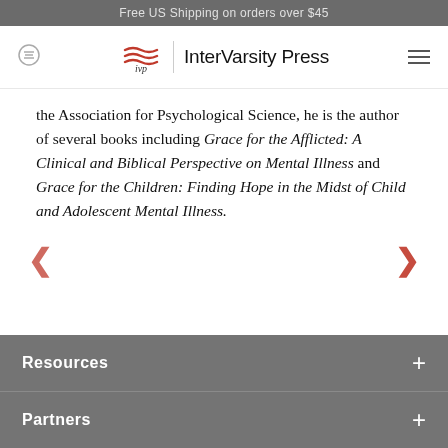Free US Shipping on orders over $45
[Figure (logo): InterVarsity Press logo with IVP wave icon and text 'InterVarsity Press']
the Association for Psychological Science, he is the author of several books including Grace for the Afflicted: A Clinical and Biblical Perspective on Mental Illness and Grace for the Children: Finding Hope in the Midst of Child and Adolescent Mental Illness.
[Figure (other): Carousel navigation arrows: left chevron and right chevron in red]
Resources
Partners